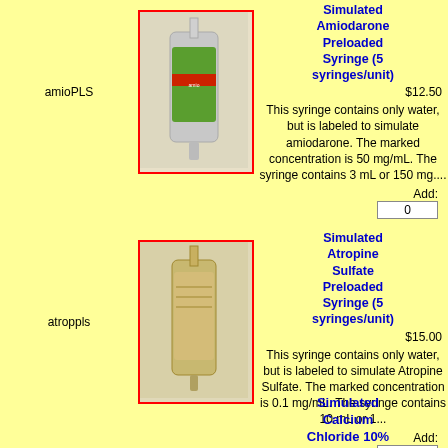Simulated Amiodarone Preloaded Syringe (5 syringes/unit)
$12.50
[Figure (photo): Photo of a simulated amiodarone preloaded syringe with green label, shown at an angle]
amioPLS
This syringe contains only water, but is labeled to simulate amiodarone. The marked concentration is 50 mg/mL. The syringe contains 3 mL or 150 mg....
Add: 0
Simulated Atropine Sulfate Preloaded Syringe (5 syringes/unit)
$15.00
[Figure (photo): Photo of a simulated atropine sulfate preloaded syringe with tan/beige label, shown at an angle]
atroppls
This syringe contains only water, but is labeled to simulate Atropine Sulfate. The marked concentration is 0.1 mg/mL. The syringe contains 10 mL or 1...
Add: 0
Simulated Calcium Chloride 10%